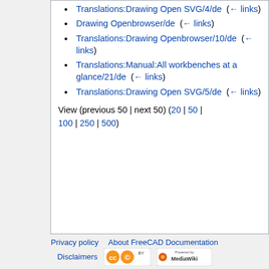Translations:Drawing Open SVG/4/de (← links)
Drawing Openbrowser/de (← links)
Translations:Drawing Openbrowser/10/de (← links)
Translations:Manual:All workbenches at a glance/21/de (← links)
Translations:Drawing Open SVG/5/de (← links)
View (previous 50 | next 50) (20 | 50 | 100 | 250 | 500)
Privacy policy   About FreeCAD Documentation   Disclaimers